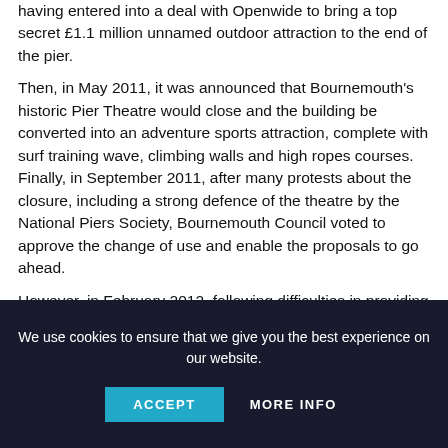having entered into a deal with Openwide to bring a top secret £1.1 million unnamed outdoor attraction to the end of the pier.
Then, in May 2011, it was announced that Bournemouth's historic Pier Theatre would close and the building be converted into an adventure sports attraction, complete with surf training wave, climbing walls and high ropes courses. Finally, in September 2011, after many protests about the closure, including a strong defence of the theatre by the National Piers Society, Bournemouth Council voted to approve the change of use and enable the proposals to go ahead.
However, in February 2012, following difficulties in providing an electrical power supply for the the new all-weather attraction, Openwide announced that the historic Pier
We use cookies to ensure that we give you the best experience on our website.
ACCEPT   MORE INFO